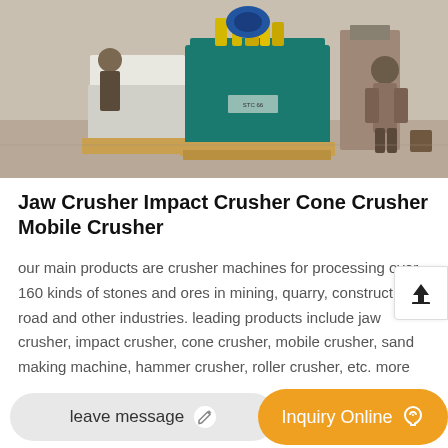[Figure (photo): Industrial crusher machine (teal/green colored) on wooden pallet, with yellow pipes/valves on top, workers in background at an outdoor site]
Jaw Crusher Impact Crusher Cone Crusher Mobile Crusher
our main products are crusher machines for processing over 160 kinds of stones and ores in mining, quarry, construction, road and other industries. leading products include jaw crusher, impact crusher, cone crusher, mobile crusher, sand making machine, hammer crusher, roller crusher, etc. more than 360 engineering and technical personnel.